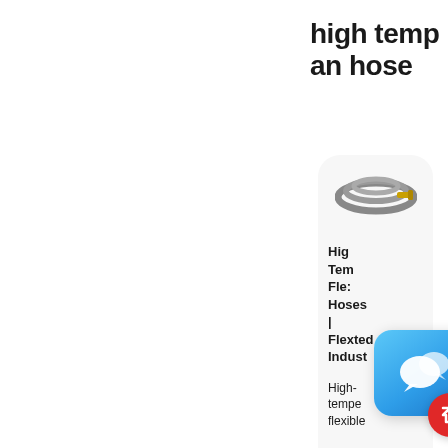high temp an hose
[Figure (screenshot): A card UI showing a coiled hose product image, with text 'High Temperature Flexible Hoses | Flextec Industries' and 'High-temperature flexible' text. A chat popup with speech bubble icon and a red scroll-to-top button overlay the card.]